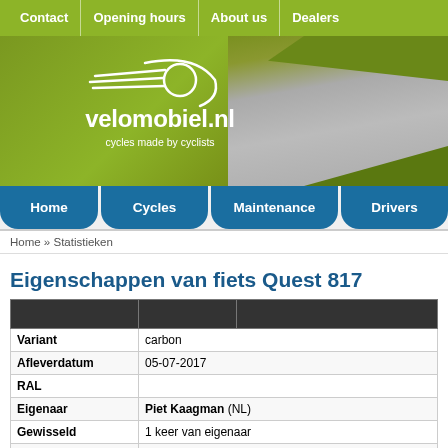Contact | Opening hours | About us | Dealers
[Figure (logo): velomobiel.nl logo with swoosh/wheel icon and tagline 'cycles made by cyclists' on green background with road photo]
Home | Cycles | Maintenance | Drivers
Home » Statistieken
Eigenschappen van fiets Quest 817
|  |  |  |
| --- | --- | --- |
| Variant | carbon |  |
| Afleverdatum | 05-07-2017 |  |
| RAL |  |  |
| Eigenaar | Piet Kaagman (NL) |  |
| Gewisseld | 1 keer van eigenaar |  |
| Bijzonderheden |  |  |
| Kilometerstanden | Datum | Stand | Rijder | Gem |
|  | 2017-07-05 | 0 | Marcel Tisseur | - |
|  | 2017-07-31 | 705 | Marcel Tisseur | 825 |